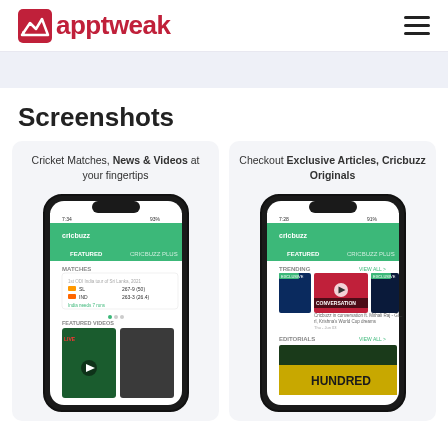apptweak
Screenshots
[Figure (screenshot): Cricbuzz app screenshot showing Cricket Matches, News & Videos at your fingertips — features MATCHES section with SL vs IND scores]
[Figure (screenshot): Cricbuzz app screenshot showing Checkout Exclusive Articles, Cricbuzz Originals — features TRENDING section with Cricbuzz CONVERSATION video]